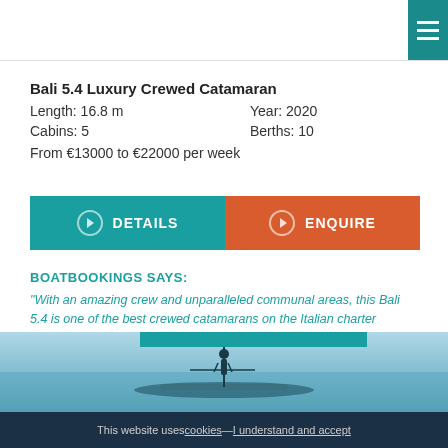Menu
Bali 5.4 Luxury Crewed Catamaran
Length: 16.8 m    Year: 2020
Cabins: 5    Berths: 10
From €13000 to €22000 per week
DETAILS
ENQUIRE
BOATBOOKINGS SAYS:
"With an amazing crew and unparalleled communal areas, this Bali 5.4 is one of the best crewed catamarans on the Italian charter market!"
[Figure (photo): Aerial or water-level photo of a catamaran on turquoise water with a person standing on it]
MODIFY YOUR SEARCH
This website uses cookies — I understand and accept